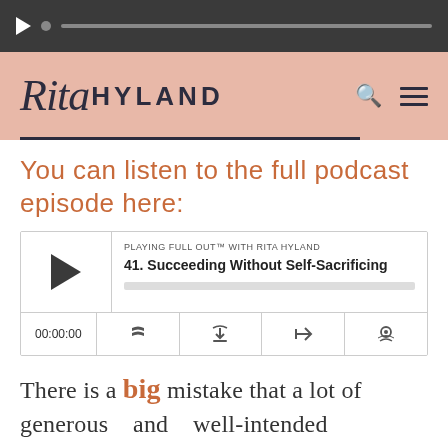[Figure (screenshot): Audio player bar at top with play button and progress track on dark background]
[Figure (logo): Rita Hyland website header with script and sans-serif logo on pink background, search and menu icons]
You can listen to the full podcast episode here:
[Figure (screenshot): Podcast player widget showing 'PLAYING FULL OUT™ WITH RITA HYLAND' and episode '41. Succeeding Without Self-Sacrificing' with play button, progress bar, time 00:00:00, and control icons]
There is a big mistake that a lot of generous    and    well-intended